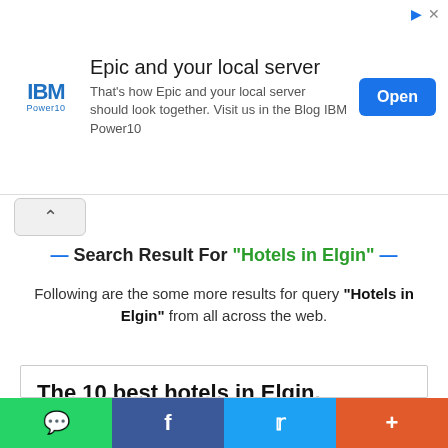[Figure (screenshot): IBM Power10 advertisement banner with logo, text 'Epic and your local server', body text, and Open button]
— Search Result For "Hotels in Elgin" —
Following are the some more results for query "Hotels in Elgin" from all across the web.
The 10 best hotels in Elgin, Grampian – Cheap Elgin hotels
Hotel in Elgin Set inElgin, 600 metres fromElgin Cathedral, The RoyalHotel offers accommodation with a restaurant, free private parking and a bar. Staff are great and really friendly, food is good as well. Rooms are spacious and very warm and